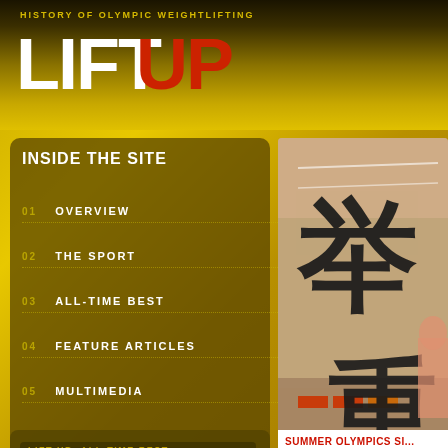HISTORY OF OLYMPIC WEIGHTLIFTING
LIFT UP
INSIDE THE SITE
01  OVERVIEW
02  THE SPORT
03  ALL-TIME BEST
04  FEATURE ARTICLES
05  MULTIMEDIA
[Figure (photo): Photo of a weightlifting venue with Chinese characters (举重) overlaid on the image]
LIFT UP: ALL-TIME BEST
TOP TOURNAMENTS
TOP LIFTERS
HALL OF FAME
SUMMER OLYMPICS SI...
2000 Summer Olympics Location: Sydney, AUS Weight Class: Bantamweight